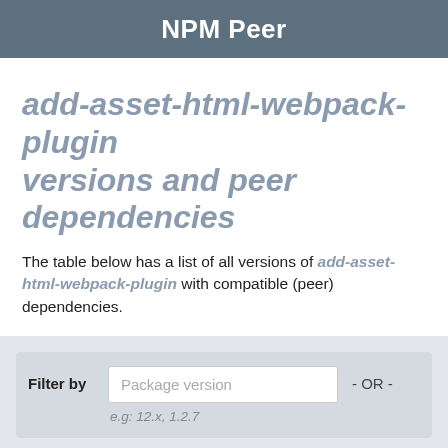NPM Peer
add-asset-html-webpack-plugin versions and peer dependencies
The table below has a list of all versions of add-asset-html-webpack-plugin with compatible (peer) dependencies.